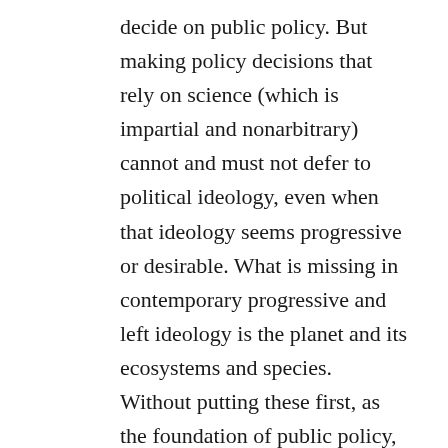decide on public policy. But making policy decisions that rely on science (which is impartial and nonarbitrary) cannot and must not defer to political ideology, even when that ideology seems progressive or desirable. What is missing in contemporary progressive and left ideology is the planet and its ecosystems and species. Without putting these first, as the foundation of public policy, we will remain paralyzed and in perpetual political conflict. The social justice movement has sidelined ecology and planetary health and regards